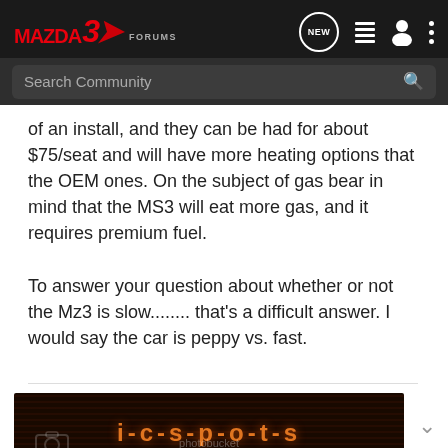MAZDA3 FORUMS — navigation bar with search
of an install, and they can be had for about $75/seat and will have more heating options that the OEM ones. On the subject of gas bear in mind that the MS3 will eat more gas, and it requires premium fuel.
To answer your question about whether or not the Mz3 is slow........ that's a difficult answer. I would say the car is peppy vs. fast.
[Figure (photo): Advertisement image showing 'i-c-s-p-o-t-s' text in orange on dark background with horizontal stripes, photobucket watermark, and caption '2005 LAVA ORANGE 3s 5-DOOR']